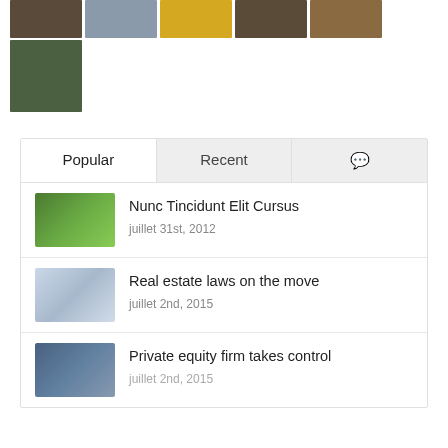[Figure (photo): Row of thumbnail photos: dark image, man's face, yellow background, dark wood, golden object]
[Figure (photo): Single thumbnail photo: forest logs/timber]
[Figure (screenshot): Tabbed widget with Popular, Recent, and comment icon tabs, showing three article list items with thumbnails and dates]
Nunc Tincidunt Elit Cursus | juillet 31st, 2012
Real estate laws on the move | juillet 2nd, 2015
Private equity firm takes control | juillet 2nd, 2015